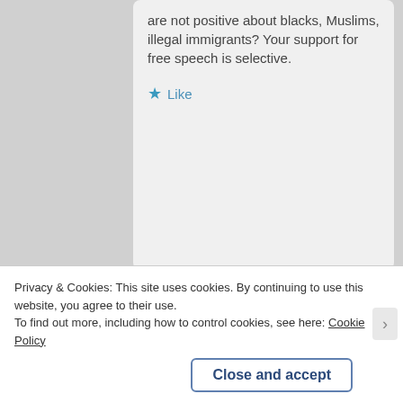are not positive about blacks, Muslims, illegal immigrants? Your support for free speech is selective.
Like
[Figure (photo): Profile photo of Dr. Eric Anthony Grollman - a person with beard outdoors]
Dr. Eric Anthony Grollman
May 27, 2015
8:17 AM
Your comments, like all of the conservative backlash Dr. Grundy faced, suffer from a problem of assumed...
Privacy & Cookies: This site uses cookies. By continuing to use this website, you agree to their use.
To find out more, including how to control cookies, see here: Cookie Policy
Close and accept